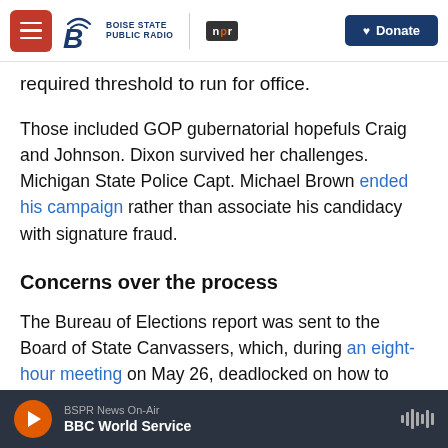Boise State Public Radio | NPR | Donate
required threshold to run for office.
Those included GOP gubernatorial hopefuls Craig and Johnson. Dixon survived her challenges. Michigan State Police Capt. Michael Brown ended his campaign rather than associate his candidacy with signature fraud.
Concerns over the process
The Bureau of Elections report was sent to the Board of State Canvassers, which, during an eight-hour meeting on May 26, deadlocked on how to handle the affected campaigns for governor.
BSPR News On-Air | BBC World Service